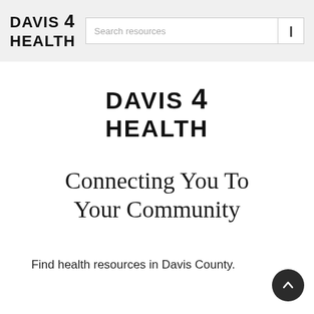DAVIS 4 HEALTH — Search resources
[Figure (logo): DAVIS 4 HEALTH logo in bold uppercase text, centered on white background]
Connecting You To Your Community
Find health resources in Davis County.